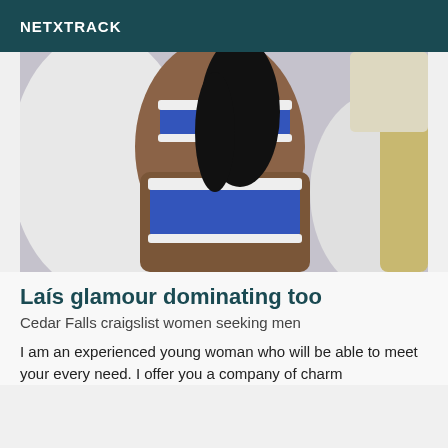NETXTRACK
[Figure (photo): A woman photographed from behind wearing a blue sports top and blue underwear with white waistbands, with a light background.]
Laís glamour dominating too
Cedar Falls craigslist women seeking men
I am an experienced young woman who will be able to meet your every need. I offer you a company of charm